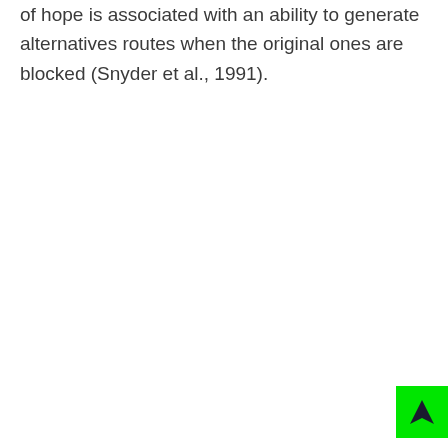of hope is associated with an ability to generate alternatives routes when the original ones are blocked (Snyder et al., 1991).